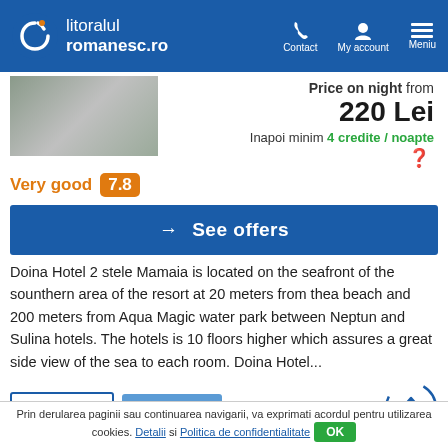litoralul romanesc.ro | Contact | My account | Meniu
[Figure (photo): Hotel exterior photo, partially visible]
Price on night from
220 Lei
Inapoi minim 4 credite / noapte
Very good 7.8
→ See offers
Doina Hotel 2 stele Mamaia is located on the seafront of the sounthern area of the resort at 20 meters from thea beach and 200 meters from Aqua Magic water park between Neptun and Sulina hotels. The hotels is 10 floors higher which assures a great side view of the sea to each room. Doina Hotel...
Last Minute
Prices 2022
Hefaistos Mamaia
Prin derularea paginii sau continuarea navigarii, va exprimati acordul pentru utilizarea cookies. Detalii si Politica de confidentialitate OK